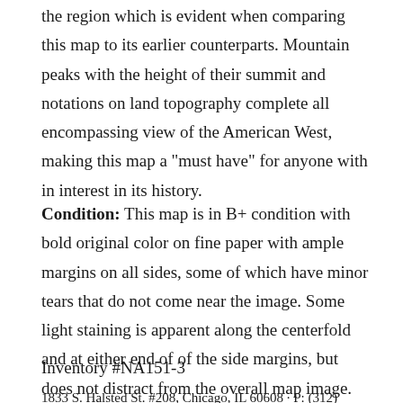the region which is evident when comparing this map to its earlier counterparts. Mountain peaks with the height of their summit and notations on land topography complete all encompassing view of the American West, making this map a "must have" for anyone with in interest in its history.
Condition: This map is in B+ condition with bold original color on fine paper with ample margins on all sides, some of which have minor tears that do not come near the image. Some light staining is apparent along the centerfold and at either end of of the side margins, but does not distract from the overall map image.
Inventory #NA151-3
1833 S. Halsted St. #208, Chicago, IL 60608 · P: (312)